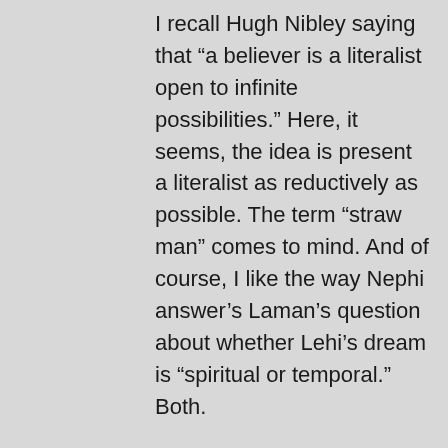I recall Hugh Nibley saying that “a believer is a literalist open to infinite possibilities.” Here, it seems, the idea is present a literalist as reductively as possible. The term “straw man” comes to mind. And of course, I like the way Nephi answer’s Laman’s question about whether Lehi’s dream is “spiritual or temporal.” Both.
For a much more useful, and generally applicable approach to possibilities and directions for spiritual growth and maturity, I’d favor something like the Perry Scheme for Cognitive and Ethical Growth. That uses a nine stage